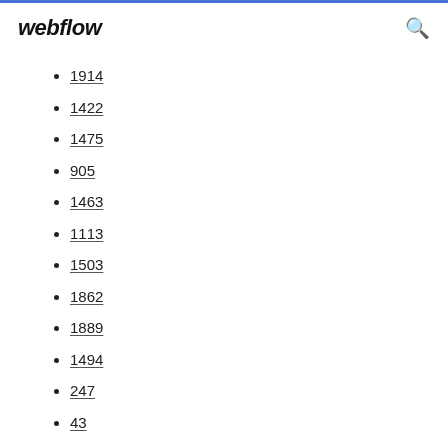webflow
1914
1422
1475
905
1463
1113
1503
1862
1889
1494
247
43